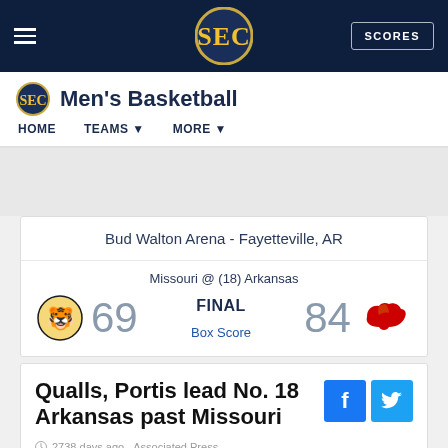SEC Men's Basketball — HOME | TEAMS | MORE | SCORES
Bud Walton Arena - Fayetteville, AR
Missouri @ (18) Arkansas
FINAL
69 84
Box Score
Qualls, Portis lead No. 18 Arkansas past Missouri
2738 days ago   Associated Press